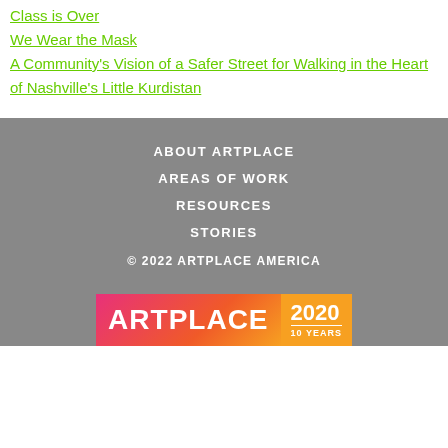Class is Over
We Wear the Mask
A Community's Vision of a Safer Street for Walking in the Heart of Nashville's Little Kurdistan
ABOUT ARTPLACE
AREAS OF WORK
RESOURCES
STORIES
© 2022 ARTPLACE AMERICA
[Figure (logo): ArtPlace 2020 10 Years logo with gradient pink-orange background]